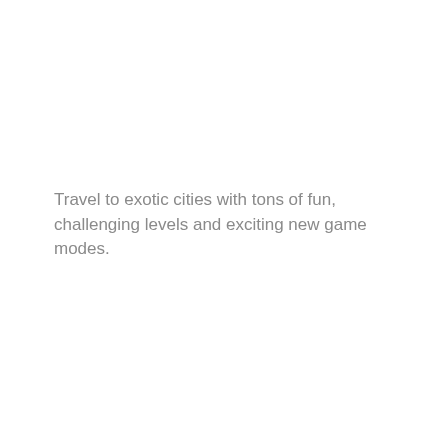Travel to exotic cities with tons of fun, challenging levels and exciting new game modes.